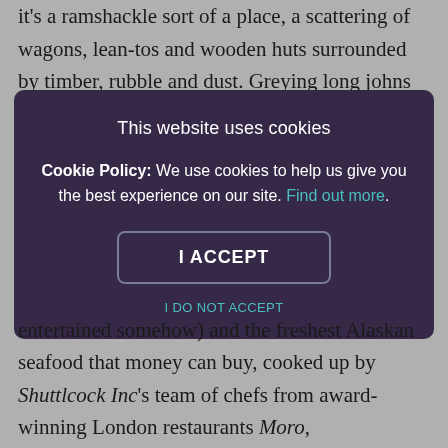it's a ramshackle sort of a place, a scattering of wagons, lean-tos and wooden huts surrounded by timber, rubble and dust. Greying long johns hang from criss-crossing
[Figure (screenshot): Cookie consent overlay modal with dark purple background. Title: 'This website uses cookies'. Body text: 'Cookie Policy: We use cookies to help us give you the best experience on our site. Find out more.' Button: 'I ACCEPT'. Link: 'I DO NOT ACCEPT'.]
entertained somehow) and the freshest Alaskan seafood that money can buy, cooked up by Shuttlcock Inc's team of chefs from award-winning London restaurants Moro,